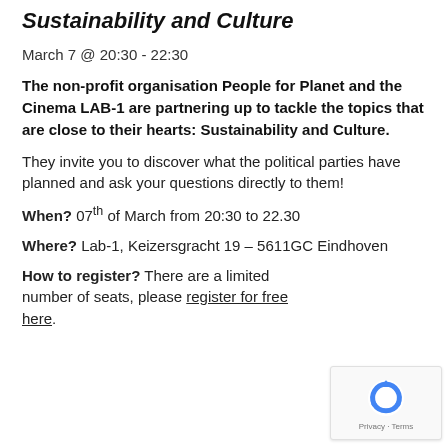Sustainability and Culture
March 7 @ 20:30 - 22:30
The non-profit organisation People for Planet and the Cinema LAB-1 are partnering up to tackle the topics that are close to their hearts: Sustainability and Culture.
They invite you to discover what the political parties have planned and ask your questions directly to them!
When? 07th of March from 20:30 to 22.30
Where? Lab-1, Keizersgracht 19 – 5611GC Eindhoven
How to register? There are a limited number of seats, please register for free here.